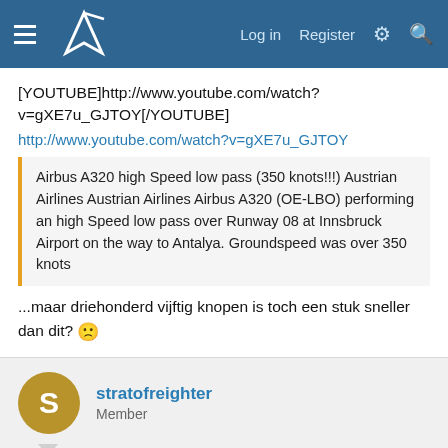Navigation bar with logo, Log in, Register links
[YOUTUBE]http://www.youtube.com/watch?v=gXE7u_GJTOY[/YOUTUBE]
http://www.youtube.com/watch?v=gXE7u_GJTOY
Airbus A320 high Speed low pass (350 knots!!!) Austrian Airlines Austrian Airlines Airbus A320 (OE-LBO) performing an high Speed low pass over Runway 08 at Innsbruck Airport on the way to Antalya. Groundspeed was over 350 knots
...maar driehonderd vijftig knopen is toch een stuk sneller dan dit? 🙁
stratofreighter
Member
Jul 3, 2018	#886
[YOUTUBE]http://www.youtube.com/watch?v=rLGSoL7Z02E[/YOUTUBE]